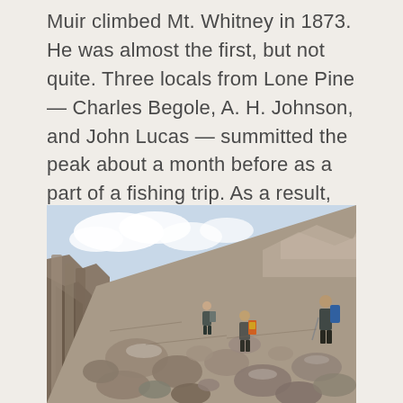Muir climbed Mt. Whitney in 1873. He was almost the first, but not quite. Three locals from Lone Pine — Charles Begole, A. H. Johnson, and John Lucas — summitted the peak about a month before as a part of a fishing trip. As a result, he christened it Fishermans Peak. It didn't stick.
[Figure (photo): Hikers with backpacks climbing a rocky boulder-strewn mountain trail with large granite rocks and a partly cloudy sky in the background.]